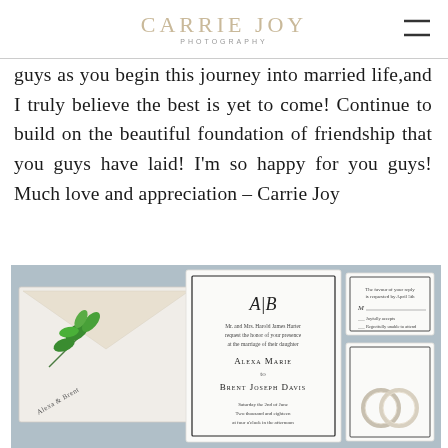CARRIE JOY PHOTOGRAPHY
guys as you begin this journey into married life,and I truly believe the best is yet to come! Continue to build on the beautiful foundation of friendship that you guys have laid! I'm so happy for you guys! Much love and appreciation – Carrie Joy
[Figure (photo): Wedding stationery flat lay on a blue-grey textured background showing an envelope with green leaf liner, a white wedding invitation card with monogram A|B and names Alexa Marie and Brent Joseph Davis, an RSVP card, and wedding rings.]